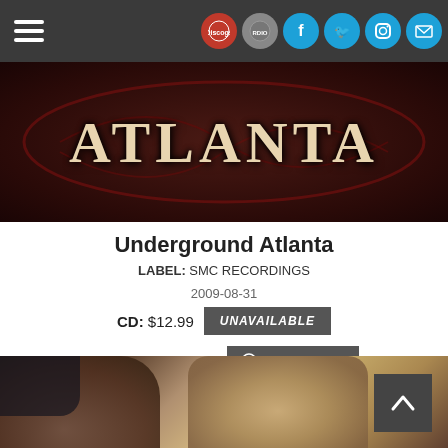[Figure (screenshot): Website navigation bar with hamburger menu icon and social media icons (Discogs, RDIO, Facebook, Twitter, Instagram, Email)]
[Figure (photo): Top portion of Underground Atlanta album cover showing stylized ATLANTA text in cream/beige color on dark red/brown background with decorative flourishes]
Underground Atlanta
LABEL: SMC RECORDINGS
2009-08-31
CD: $12.99  UNAVAILABLE
MP3 Album: $9.99  DOWNLOAD
[Figure (photo): Bottom portion of album cover showing person holding something, with partial flag/skull imagery visible in background]